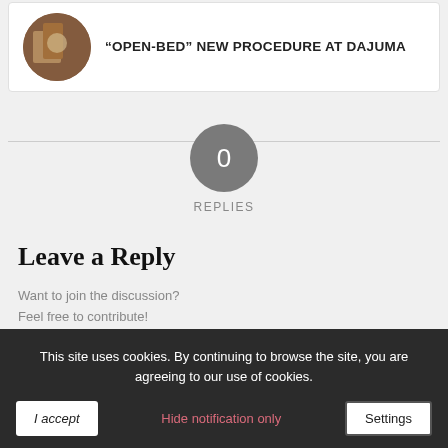[Figure (photo): Circular thumbnail photo of a wooden interior, used as article image]
“OPEN-BED” NEW PROCEDURE AT DAJUMA
0 REPLIES
Leave a Reply
Want to join the discussion?
Feel free to contribute!
Name *
This site uses cookies. By continuing to browse the site, you are agreeing to our use of cookies.
I accept | Hide notification only | Settings